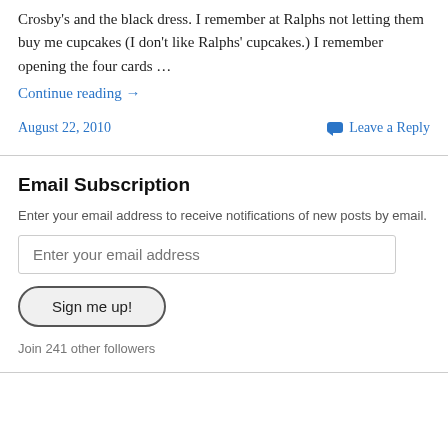Crosby's and the black dress. I remember at Ralphs not letting them buy me cupcakes (I don't like Ralphs' cupcakes.) I remember opening the four cards …
Continue reading →
August 22, 2010
Leave a Reply
Email Subscription
Enter your email address to receive notifications of new posts by email.
Enter your email address
Sign me up!
Join 241 other followers